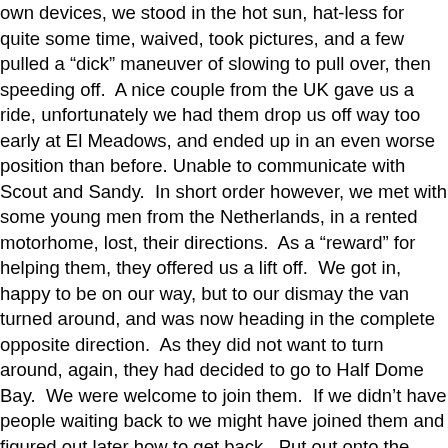own devices, we stood in the hot sun, hat-less for quite some time, waived, took pictures, and a few pulled a “dick” maneuver of slowing to pull over, then speeding off. A nice couple from the UK gave us a ride, unfortunately we had them drop us off way too early at El Meadows, and ended up in an even worse position than before. Unable to communicate with Scout and Sandy. In short order however, we met with some young men from the Netherlands, in a rented motorhome, lost, their directions. As a “reward” for helping them, they offered us a lift off. We got in, happy to be on our way, but to our dismay the van turned around, and was now heading in the complete opposite direction. As they did not want to turn around, again, they had decided to go to Half Dome Bay. We were welcome to join them. If we didn’t have people waiting back to we might have joined them and figured out later how to get back. Put out onto the side of the road we clamored once more. Now we were further (in the wrong direction) from where we had first hitched, had no idea where we were (except next to the Merced River and what appeared to be a swimming hole), and absolutely NO cell reception. Better yet. With sign in hand, we tried our luck at hitching once more. A driver took us back to the fork in the road that at least led to the next form of...